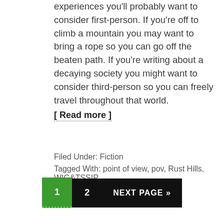experiences you'll probably want to consider first-person. If you're off to climb a mountain you may want to bring a rope so you can go off the beaten path. If you're writing about a decaying society you might want to consider third-person so you can freely travel throughout that world.
[ Read more ]
Filed Under: Fiction
Tagged With: point of view, pov, Rust Hills, WIG&TSSIP
1  2  NEXT PAGE »